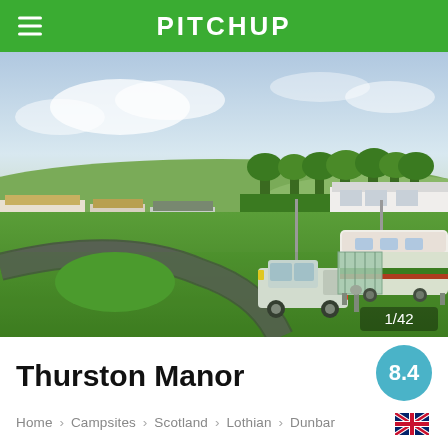PITCHUP
[Figure (photo): Aerial view of Thurston Manor campsite with a white van and caravan parked on green grass, additional caravans and static homes in the background, hills and trees visible.]
Thurston Manor
8.4
Home > Campsites > Scotland > Lothian > Dunbar